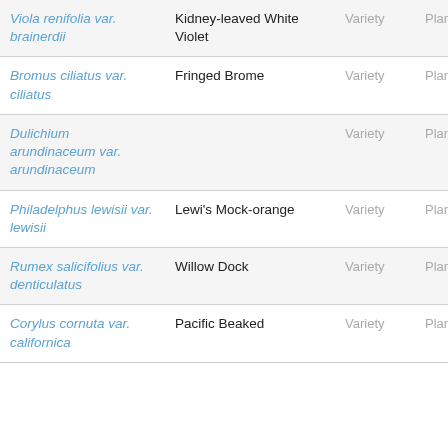| Scientific Name | Common Name | Rank | Kingdom |
| --- | --- | --- | --- |
| Viola renifolia var. brainerdii | Kidney-leaved White Violet | Variety | Plant |
| Bromus ciliatus var. ciliatus | Fringed Brome | Variety | Plant |
| Dulichium arundinaceum var. arundinaceum |  | Variety | Plant |
| Philadelphus lewisii var. lewisii | Lewi's Mock-orange | Variety | Plant |
| Rumex salicifolius var. denticulatus | Willow Dock | Variety | Plant |
| Corylus cornuta var. californica | Pacific Beaked | Variety | Plant |